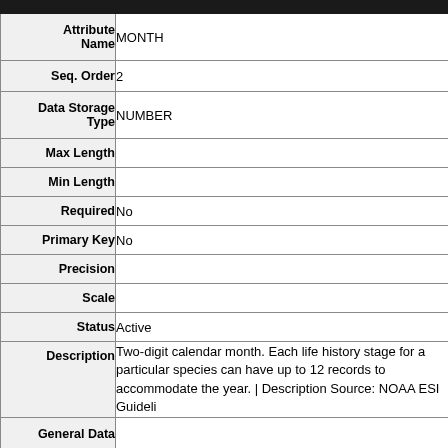| Attribute Name | Value |
| --- | --- |
| Attribute Name | MONTH |
| Seq. Order | 2 |
| Data Storage Type | NUMBER |
| Max Length |  |
| Min Length |  |
| Required | No |
| Primary Key | No |
| Precision |  |
| Scale |  |
| Status | Active |
| Description | Two-digit calendar month. Each life history stage for a particular species can have up to 12 records to accommodate the year. | Description Source: NOAA ESI Guidelines |
| General Data |  |